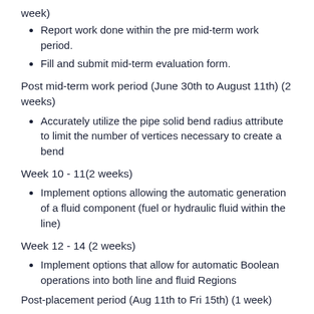week)
Report work done within the pre mid-term work period.
Fill and submit mid-term evaluation form.
Post mid-term work period (June 30th to August 11th) (2 weeks)
Accurately utilize the pipe solid bend radius attribute to limit the number of vertices necessary to create a bend
Week 10 - 11(2 weeks)
Implement options allowing the automatic generation of a fluid component (fuel or hydraulic fluid within the line)
Week 12 - 14 (2 weeks)
Implement options that allow for automatic Boolean operations into both line and fluid Regions
Post-placement period (Aug 11th to Fri 15th) (1 week)